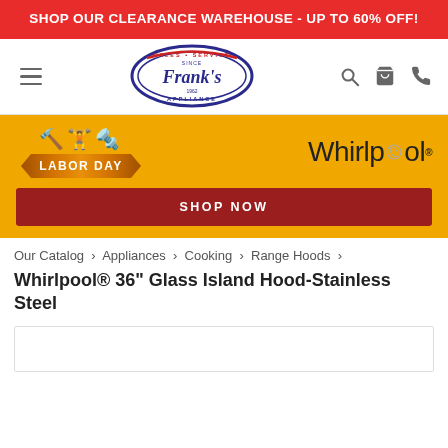SHOP OUR CLEARANCE WAREHOUSE - UP TO 60% OFF!
[Figure (logo): Frank's Appliance logo - circular blue and red emblem with 'Sales Service Since 1962 Frank's Appliance' text]
[Figure (infographic): Labor Day sale promo banner with Whirlpool logo on orange background with Shop Now button]
Our Catalog › Appliances › Cooking › Range Hoods ›
Whirlpool® 36" Glass Island Hood-Stainless Steel